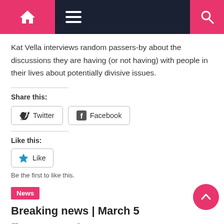Navigation bar with home, menu, and search icons
Kat Vella interviews random passers-by about the discussions they are having (or not having) with people in their lives about potentially divisive issues.
Share this:
Twitter  Facebook
Like this:
Like
Be the first to like this.
News
Breaking news | March 5
March 5, 2015   Off Campus Editor
Almost 700 koalas killed in secret cull BY IVAN KAREZI Almost 700